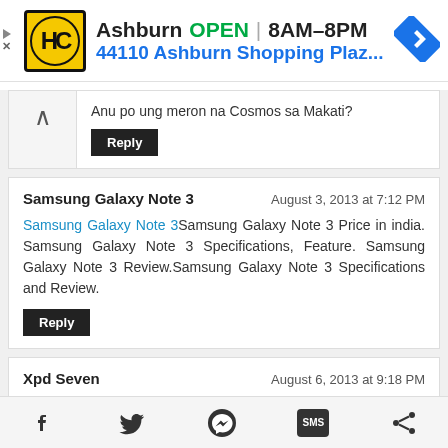[Figure (infographic): Advertisement banner: HC logo (yellow/black circle), Ashburn OPEN 8AM-8PM, 44110 Ashburn Shopping Plaz..., navigation arrow icon]
Anu po ung meron na Cosmos sa Makati?
Reply
Samsung Galaxy Note 3 — August 3, 2013 at 7:12 PM
Samsung Galaxy Note 3Samsung Galaxy Note 3 Price in india. Samsung Galaxy Note 3 Specifications, Feature. Samsung Galaxy Note 3 Review.Samsung Galaxy Note 3 Specifications and Review.
Reply
Xpd Seven — August 6, 2013 at 9:18 PM
[Figure (infographic): Bottom navigation bar with Facebook, Twitter, Messenger, SMS, and Share icons]